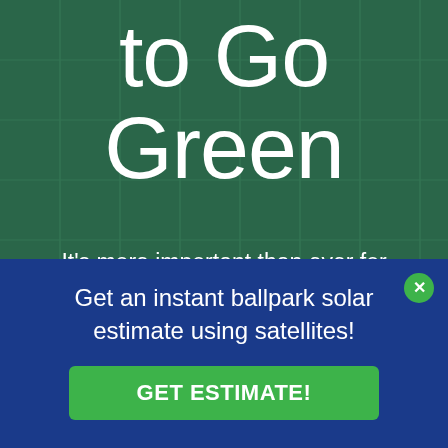to Go Green
It's more important than ever for people to find greener solutions to problems. Along with protecting the environment, this is also essential for
Get an instant ballpark solar estimate using satellites!
GET ESTIMATE!